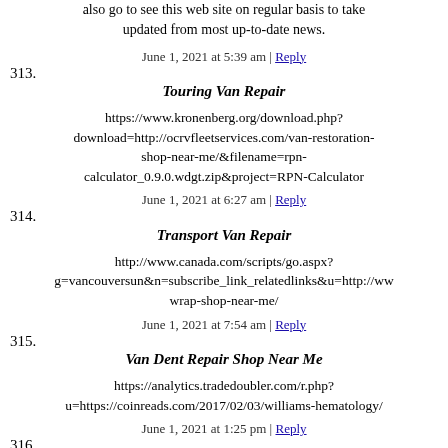also go to see this web site on regular basis to take updated from most up-to-date news.
June 1, 2021 at 5:39 am | Reply
313. Touring Van Repair
https://www.kronenberg.org/download.php?download=http://ocrvfleetservices.com/van-restoration-shop-near-me/&filename=rpn-calculator_0.9.0.wdgt.zip&project=RPN-Calculator
June 1, 2021 at 6:27 am | Reply
314. Transport Van Repair
http://www.canada.com/scripts/go.aspx?g=vancouversun&n=subscribe_link_relatedlinks&u=http://ww wrap-shop-near-me/
June 1, 2021 at 7:54 am | Reply
315. Van Dent Repair Shop Near Me
https://analytics.tradedoubler.com/r.php?u=https://coinreads.com/2017/02/03/williams-hematology/
June 1, 2021 at 1:25 pm | Reply
316. Michal Tidd